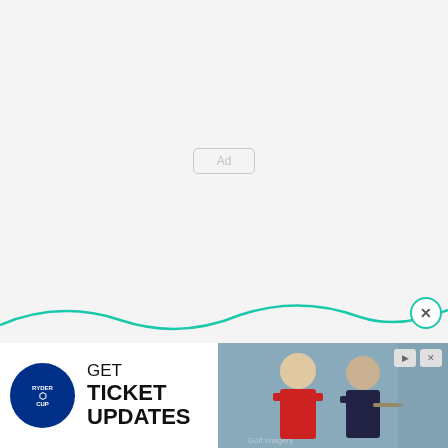[Figure (other): Ad placeholder button with text 'Ad' in a rounded rectangle, centered on a light gray background]
[Figure (other): Teal wave decoration separating main content from banner ad, with a circular close button (X) on the right]
[Figure (other): Ryder Cup advertisement banner at bottom showing 'GET TICKET UPDATES' text with Ryder Cup logo and two golfers photo on right side]